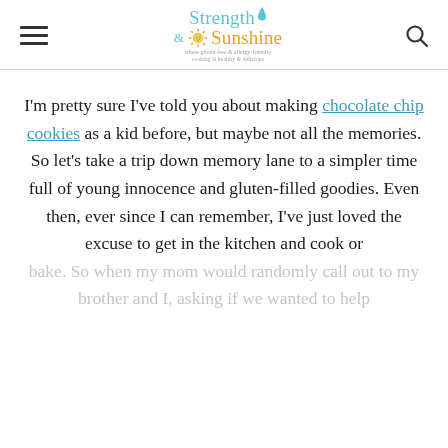Strength & Sunshine — logo and navigation header
I'm pretty sure I've told you about making chocolate chip cookies as a kid before, but maybe not all the memories. So let's take a trip down memory lane to a simpler time full of young innocence and gluten-filled goodies. Even then, ever since I can remember, I've just loved the excuse to get in the kitchen and cook or bake. So when my mom would randomly call out to my brother and I, asking if we wanted to help